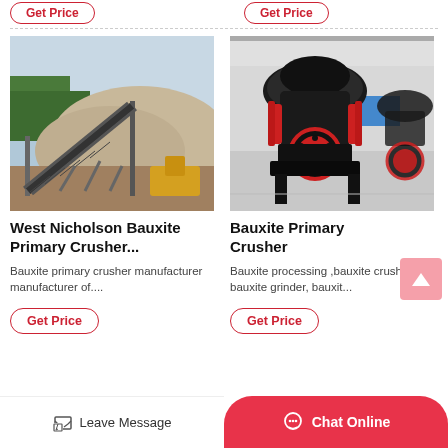[Figure (photo): Partial 'Get Price' buttons from previous section, top of page]
[Figure (photo): West Nicholson Bauxite mining site with conveyor belt and gravel pile]
West Nicholson Bauxite Primary Crusher...
Bauxite primary crusher manufacturer manufacturer of....
[Figure (photo): Bauxite Primary Crusher machine (cone crusher) in factory setting]
Bauxite Primary Crusher
Bauxite processing ,bauxite crusher, bauxite grinder, bauxit...
Get Price
Get Price
Leave Message
Chat Online